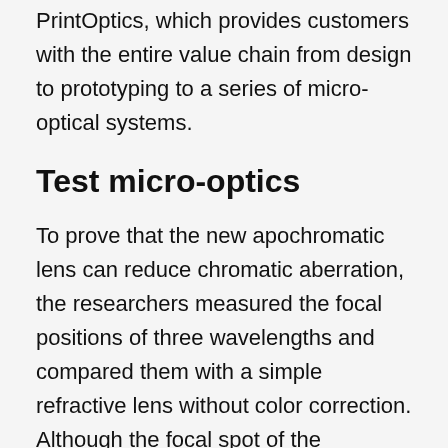PrintOptics, which provides customers with the entire value chain from design to prototyping to a series of micro-optical systems.
Test micro-optics
To prove that the new apochromatic lens can reduce chromatic aberration, the researchers measured the focal positions of three wavelengths and compared them with a simple refractive lens without color correction. Although the focal spot of the reference lens without color correction is many microns apart, the focal spot of the